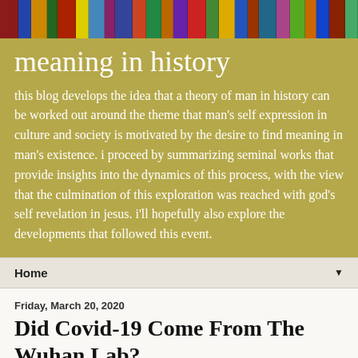[Figure (illustration): Colorful bookshelf header image with books of various colors.]
meaning in history
this blog develops the idea that a theory of man in history can be worked out around the theme that man's self expression in culture and society is motivated by the desire to find meaning in man's existence. i proceed by summarizing seminal works that provide insights into the dynamics of this process, with the view that the culmination of this exploration was reached with god's self revelation in jesus. i'll hopefully also explore the developments that followed this event.
Home ▼
Friday, March 20, 2020
Did Covid-19 Come From The Wuhan Lab?
There's been a lot of speculation about whether Covid-19 came to